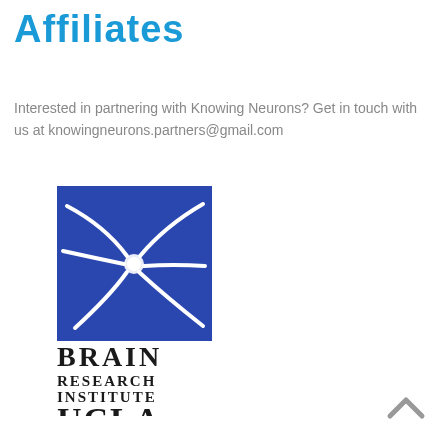Affiliates
Interested in partnering with Knowing Neurons? Get in touch with us at knowingneurons.partners@gmail.com
[Figure (logo): Brain Research Institute UCLA logo — blue square with white neuron illustration, text reading BRAIN RESEARCH INSTITUTE UCLA below]
[Figure (other): Back to top arrow chevron icon in grey at bottom right]